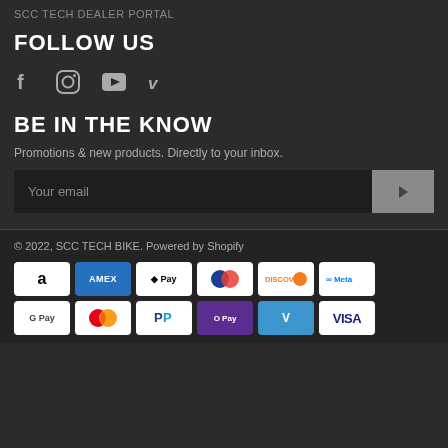SCC TECH DEALER PORTAL
FOLLOW US
[Figure (illustration): Social media icons: Facebook, Instagram, YouTube, Vimeo]
BE IN THE KNOW
Promotions & new products. Directly to your inbox.
Your email [input field with submit button]
© 2022, SCC TECH BIKE. Powered by Shopify
[Figure (illustration): Payment method badges: Amazon, Amex, Apple Pay, Diners, Discover, Meta Pay, Google Pay, Mastercard, PayPal, O Pay, Venmo, Visa]